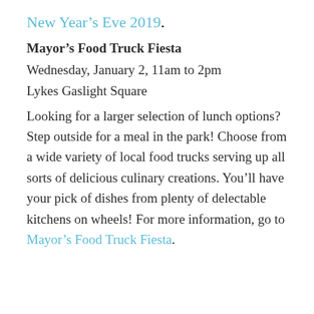New Year's Eve 2019.
Mayor's Food Truck Fiesta
Wednesday, January 2, 11am to 2pm
Lykes Gaslight Square
Looking for a larger selection of lunch options? Step outside for a meal in the park! Choose from a wide variety of local food trucks serving up all sorts of delicious culinary creations. You'll have your pick of dishes from plenty of delectable kitchens on wheels! For more information, go to Mayor's Food Truck Fiesta.